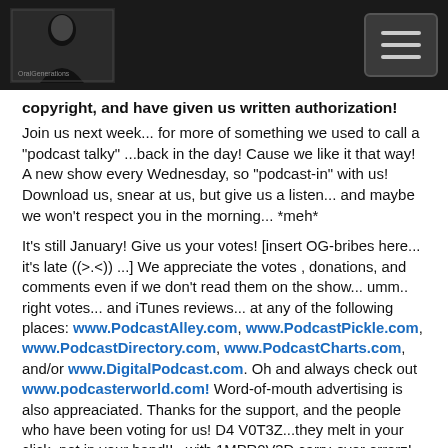[Logo and hamburger menu navigation header]
copyright, and have given us written authorization!
Join us next week... for more of something we used to call a "podcast talky" ...back in the day! Cause we like it that way! A new show every Wednesday, so "podcast-in" with us! Download us, snear at us, but give us a listen... and maybe we won't respect you in the morning... *meh*
It's still January! Give us your votes! [insert OG-bribes here... it's late ((>.<)) ...] We appreciate the votes , donations, and comments even if we don't read them on the show... umm.. right votes... and iTunes reviews... at any of the following places: www.PodcastAlley.com, www.PodcastPickle.com, www.PodcastDirectory.com, www.PodcastCharts.com, and/or www.DigitalPodcast.com. Oh and always check out www.podcasterworld.com! Word-of-mouth advertising is also appreaciated. Thanks for the support, and the people who have been voting for us! D4 V0T3Z...they melt in your click, not in your hand!! ..with 1MPR0V3D carry-over errorz! None of you caught last weeks show notes error! Shame on YOU! =D